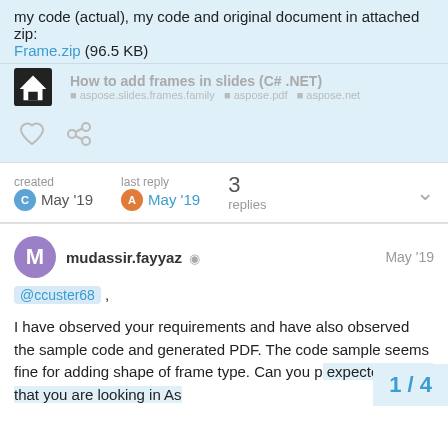my code (actual), my code and original document in attached zip:
Frame.zip (96.5 KB)
How to add frames in slides (C# .NET)
created May '19  last reply May '19  3 replies
mudassir.fayyaz  May '19
@ccuster68 ,
I have observed your requirements and have also observed the sample code and generated PDF. The code sample seems fine for adding shape of frame type. Can you p expected output that you are looking in As
1 / 4